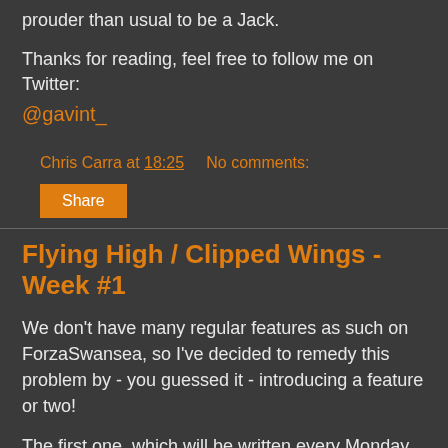prouder than usual to be a Jack.
Thanks for reading, feel free to follow me on Twitter: @gavint_
Chris Carra at 18:25   No comments:
Share
Flying High / Clipped Wings - Week #1
We don't have many regular features as such on ForzaSwansea, so I've decided to remedy this problem by - you guessed it - introducing a feature or two!
The first one, which will be written every Monday, is called "Flying High / Clipped Wings", which is essentially a hero/zero of the week. A hot or not. You get the idea.